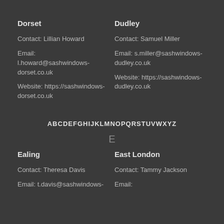Dorset
Contact: Lillian Howard
Email: l.howard@sashwindows-dorset.co.uk
Website: https://sashwindows-dorset.co.uk
Dudley
Contact: Samuel Miller
Email: s.miller@sashwindows-dudley.co.uk
Website: https://sashwindows-dudley.co.uk
ABCDEFGHIJKLMNOPQRSTUVWXYZ
E
Ealing
Contact: Theresa Davis
Email: t.davis@sashwindows-
East London
Contact: Tammy Jackson
Email: